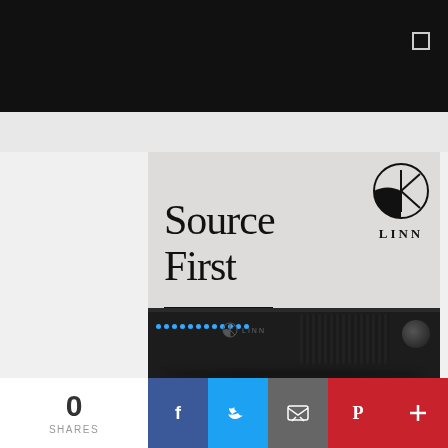[Figure (screenshot): Black navigation header bar with small icon on right]
[Figure (illustration): Linn audio advertisement: light gray background with Linn logo (circle with K shape), large serif text 'Source First', 'Find out more' button, and photo of a black rack-mount audio device (Linn player) at the bottom]
[Figure (screenshot): Dark advertisement strip at bottom with star/light effect]
[Figure (infographic): Social sharing bar: 0 SHARES counter on left, then Facebook, Twitter, Email, Pinterest, and Plus social share buttons]